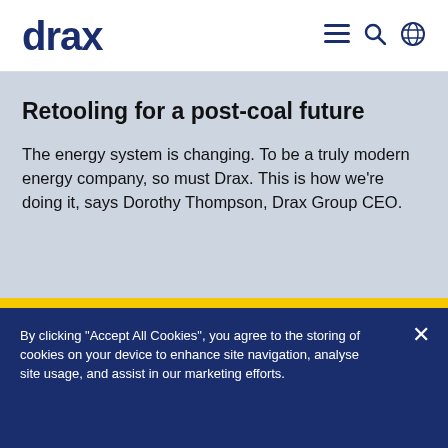drax
Retooling for a post-coal future
The energy system is changing. To be a truly modern energy company, so must Drax. This is how we're doing it, says Dorothy Thompson, Drax Group CEO.
By clicking "Accept All Cookies", you agree to the storing of cookies on your device to enhance site navigation, analyse site usage, and assist in our marketing efforts.
Cookies Settings
Accept All Cookies